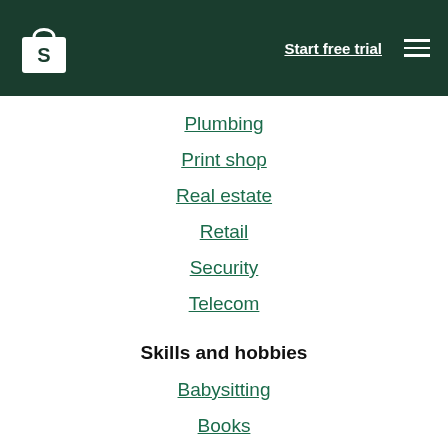Start free trial
Plumbing
Print shop
Real estate
Retail
Security
Telecom
Skills and hobbies
Babysitting
Books